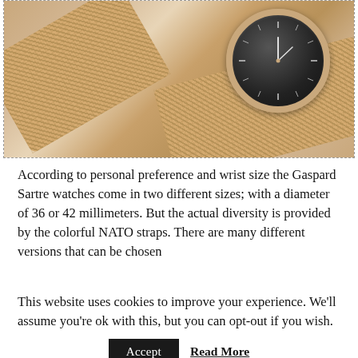[Figure (photo): Two rose gold mesh band watches on a light fabric surface. One watch has a dark/black face with rose gold case and mesh strap. The mesh bands are visible prominently in the foreground and background.]
According to personal preference and wrist size the Gaspard Sartre watches come in two different sizes; with a diameter of 36 or 42 millimeters. But the actual diversity is provided by the colorful NATO straps. There are many different versions that can be chosen
This website uses cookies to improve your experience. We'll assume you're ok with this, but you can opt-out if you wish.
Accept
Read More